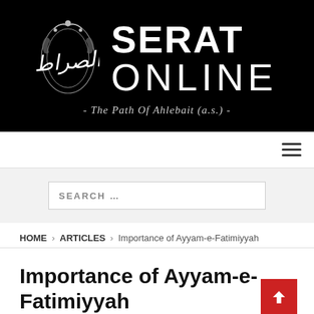[Figure (logo): Serat Online logo — black banner with Arabic calligraphic emblem, large white text 'SERAT ONLINE', and italic subtitle '- The Path Of Ahlebait (a.s.) -']
Navigation bar with hamburger menu icon
SEARCH ...
HOME > ARTICLES > Importance of Ayyam-e-Fatimiyyah
Importance of Ayyam-e-Fatimiyyah